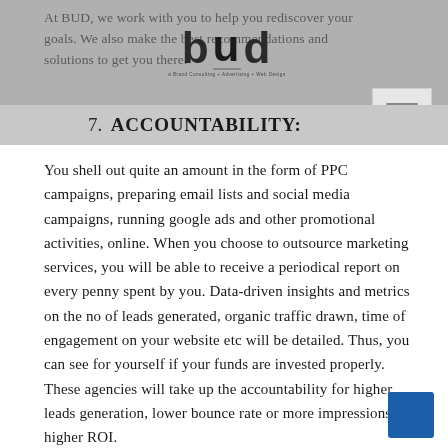At BUD, we work with you to help you rediscover your goals. We also make the best recommendations and solutions to get you there.
[Figure (logo): BUD logo with circular letter forms and tagline 'a Brand Consulting + Advertising + Web Design']
[Figure (other): Navigation hamburger menu icon, three horizontal lines in a light box]
7. ACCOUNTABILITY:
You shell out quite an amount in the form of PPC campaigns, preparing email lists and social media campaigns, running google ads and other promotional activities, online. When you choose to outsource marketing services, you will be able to receive a periodical report on every penny spent by you. Data-driven insights and metrics on the no of leads generated, organic traffic drawn, time of engagement on your website etc will be detailed. Thus, you can see for yourself if your funds are invested properly. These agencies will take up the accountability for higher leads generation, lower bounce rate or more impressions and higher ROI.